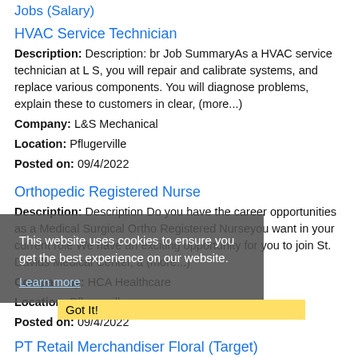Jobs (Salary)
HVAC Service Technician
Description: Description: br Job SummaryAs a HVAC service technician at L S, you will repair and calibrate systems, and replace various components. You will diagnose problems, explain these to customers in clear, (more...)
Company: L&S Mechanical
Location: Pflugerville
Posted on: 09/4/2022
Orthopedic Registered Nurse
Description: Description Do you have the career opportunities as a Medical Surgical Ortho Registered Nurseyou want in your current role We have an exciting opportunity for you to join St. Davids Medical Center, a (more...)
Company: HCA Healthcare
Location: Pflugerville
Posted on: 09/4/2022
PT Retail Merchandiser Floral (Target)
Description: Overview: PAY: Your hourly rate is based on experience and location. br SHIFT: Shifts may be on weekdays and/or weekends.About the role: br Acosta is looking for